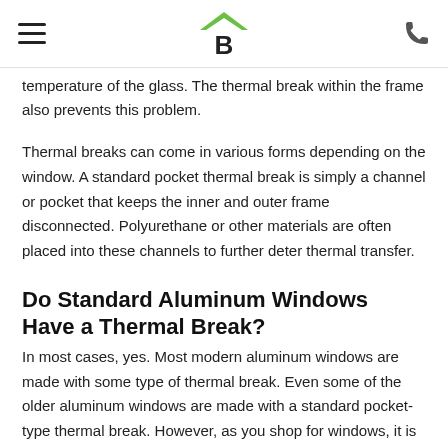[Hamburger menu] [B logo] [Phone icon]
temperature of the glass. The thermal break within the frame also prevents this problem.
Thermal breaks can come in various forms depending on the window. A standard pocket thermal break is simply a channel or pocket that keeps the inner and outer frame disconnected. Polyurethane or other materials are often placed into these channels to further deter thermal transfer.
Do Standard Aluminum Windows Have a Thermal Break?
In most cases, yes. Most modern aluminum windows are made with some type of thermal break. Even some of the older aluminum windows are made with a standard pocket-type thermal break. However, as you shop for windows, it is important to ask the window sales consultant for specifics as far as thermal breaks are concerned. A well-versed consultant will have no issues describing the frame